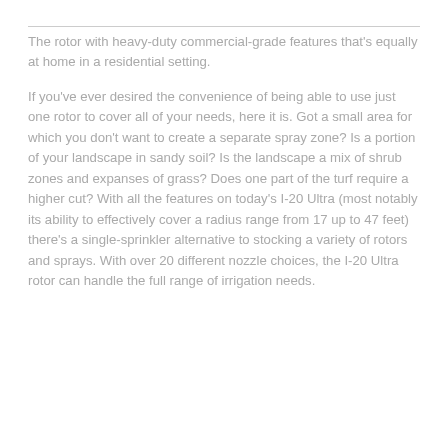The rotor with heavy-duty commercial-grade features that's equally at home in a residential setting.
If you've ever desired the convenience of being able to use just one rotor to cover all of your needs, here it is. Got a small area for which you don't want to create a separate spray zone? Is a portion of your landscape in sandy soil? Is the landscape a mix of shrub zones and expanses of grass? Does one part of the turf require a higher cut? With all the features on today's I-20 Ultra (most notably its ability to effectively cover a radius range from 17 up to 47 feet) there's a single-sprinkler alternative to stocking a variety of rotors and sprays. With over 20 different nozzle choices, the I-20 Ultra rotor can handle the full range of irrigation needs.